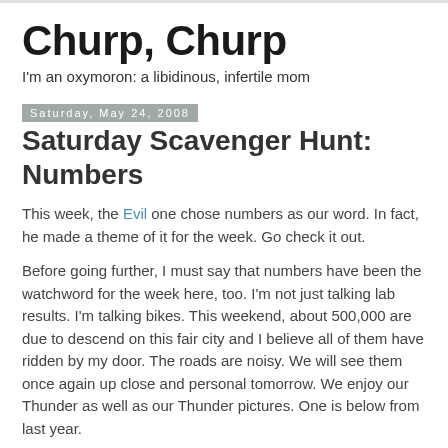Churp, Churp
I'm an oxymoron: a libidinous, infertile mom
Saturday, May 24, 2008
Saturday Scavenger Hunt: Numbers
This week, the Evil one chose numbers as our word. In fact, he made a theme of it for the week. Go check it out.
Before going further, I must say that numbers have been the watchword for the week here, too. I'm not just talking lab results. I'm talking bikes. This weekend, about 500,000 are due to descend on this fair city and I believe all of them have ridden by my door. The roads are noisy. We will see them once again up close and personal tomorrow. We enjoy our Thunder as well as our Thunder pictures. One is below from last year.